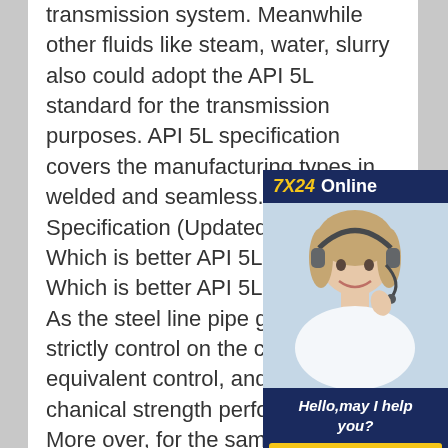transmission system. Meanwhile other fluids like steam, water, slurry also could adopt the API 5L standard for the transmission purposes. API 5L specification covers the manufacturing types in welded and seamless.API 5L Pipe Specification (Updated on ) Steel Which is better API 5L or octg steel?Which is better API 5L or octg steel?As the steel line pipe grade, more strictly control on the carbon equivalent control, and higher mechanical strength performances. More over, for the same grade API 5L pipe, seamless and welded chemical elements content is different, which welded pipe is required more strictly and lower on Carbon and Sulfur.API 5L Pipe Specification (Updated on ) - Octal Steel
[Figure (infographic): Online chat widget with 7X24 Online header in navy blue, photo of smiling woman with headset, text 'Hello,may I help you?' and yellow 'Get Latest Price' button]